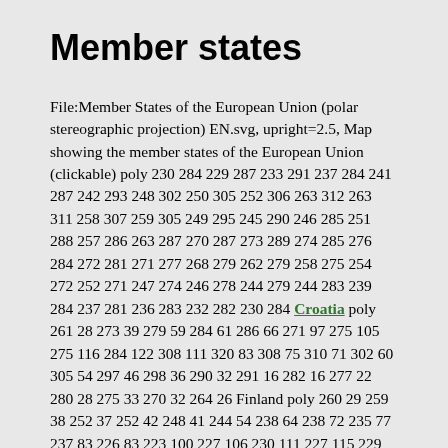Member states
File:Member States of the European Union (polar stereographic projection) EN.svg, upright=2.5, Map showing the member states of the European Union (clickable) poly 230 284 229 287 233 291 237 284 241 287 242 293 248 302 250 305 252 306 263 312 263 311 258 307 259 305 249 295 245 290 246 285 251 288 257 286 263 287 270 287 273 289 274 285 276 284 272 281 271 277 268 279 262 279 258 275 254 272 252 271 247 274 246 278 244 279 244 283 239 284 237 281 236 283 232 282 230 284 Croatia poly 261 28 273 39 279 59 284 61 286 66 271 97 275 105 275 116 284 122 308 111 320 83 308 75 310 71 302 60 305 54 297 46 298 36 290 32 291 16 282 16 277 22 280 28 275 33 270 32 264 26 Finland poly 260 29 259 38 252 37 252 42 248 41 244 54 238 64 238 72 235 77 237 83 226 83 223 100 227 106 230 111 227 115 229 121 223 127 220 141 229 160 227 163 231 173 238 171 238 168 242 164 250 164 254 135 261 130 262 117 252 115 257 93 270 83 271 66 279 59 273 39 Sweden poly 312 142 307 131 311 123 294 123 279 132 280 142 290 137 295 138 304 141 Estonia poly 310 164 310 155 318 148 312 142 295 140 208